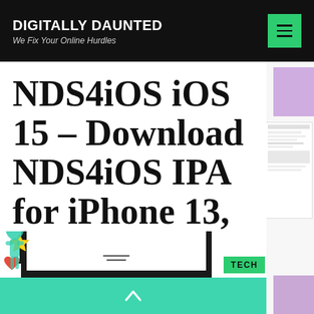DIGITALLY DAUNTED – We Fix Your Online Hurdles
NDS4iOS iOS 15 – Download NDS4iOS IPA for iPhone 13, 12, 11 [2022]
[Figure (screenshot): Bottom portion of website showing a phone device image, teal/green decorative banner with scroll-up arrow, TECH category badge in green, and illustrated decorative elements (yellow star, heart, light bulb) on the left side.]